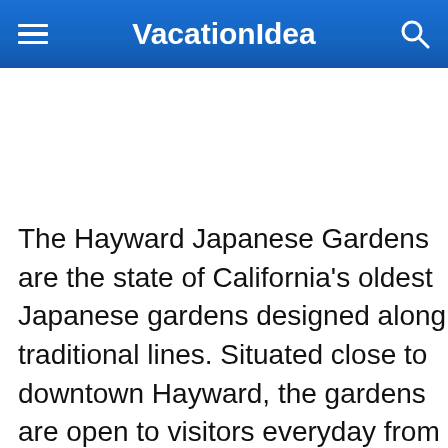VacationIdea
The Hayward Japanese Gardens are the state of California's oldest Japanese gardens designed along traditional lines. Situated close to downtown Hayward, the gardens are open to visitors everyday from 8:30am until 4:00pm, with the exception of Christmas Day. There is no charge for admission to the Hayward Japanese Gardens and the grounds can be a